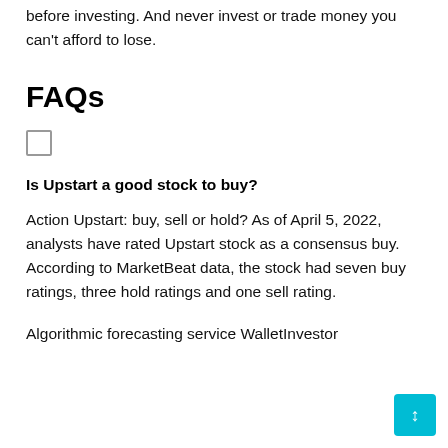before investing. And never invest or trade money you can't afford to lose.
FAQs
Is Upstart a good stock to buy?
Action Upstart: buy, sell or hold? As of April 5, 2022, analysts have rated Upstart stock as a consensus buy. According to MarketBeat data, the stock had seven buy ratings, three hold ratings and one sell rating.
Algorithmic forecasting service WalletInvestor